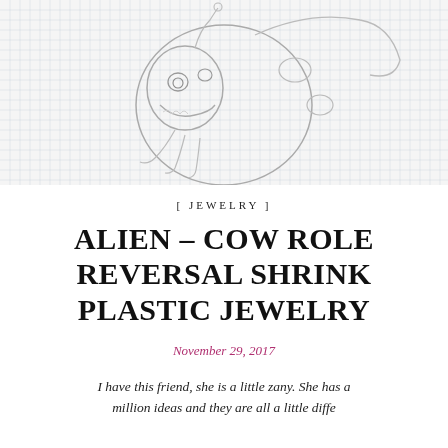[Figure (illustration): Pencil sketch drawing of an alien-cow creature on graph paper background, showing a round creature with claws and spots]
[ JEWELRY ]
ALIEN – COW ROLE REVERSAL SHRINK PLASTIC JEWELRY
November 29, 2017
I have this friend, she is a little zany. She has a million ideas and they are all a little diffe...